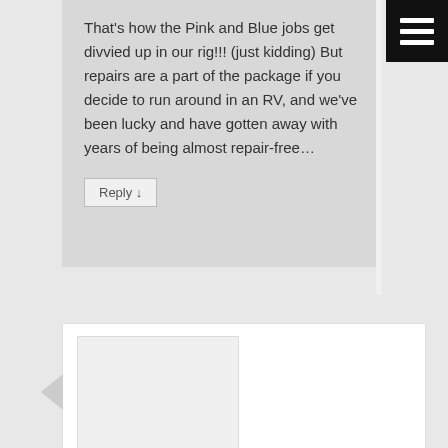That's how the Pink and Blue jobs get divvied up in our rig!!! (just kidding) But repairs are a part of the package if you decide to run around in an RV, and we've been lucky and have gotten away with years of being almost repair-free…
Reply ↓
[Figure (other): Black square menu/hamburger icon with three white horizontal bars]
[Figure (other): User avatar placeholder image, light gray rectangle]
Tim on November 3, 2015 at 4:33 pm
said:
Boy do I know how this feels. Our boat is in the shop right now for